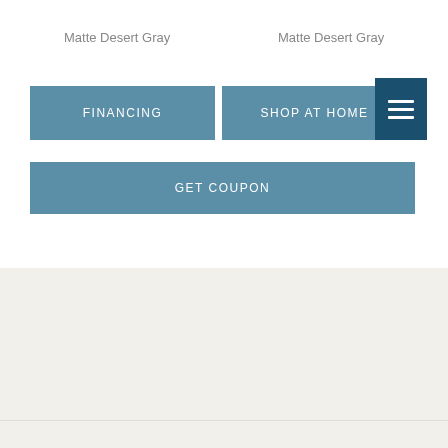Matte Desert Gray
Matte Desert Gray
FINANCING
SHOP AT HOME
GET COUPON
PRODUCT ATTRIBUTES